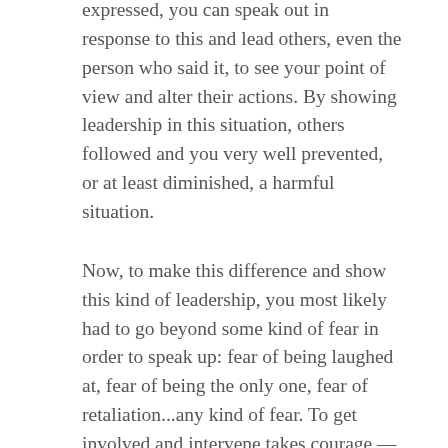expressed, you can speak out in response to this and lead others, even the person who said it, to see your point of view and alter their actions. By showing leadership in this situation, others followed and you very well prevented, or at least diminished, a harmful situation.
Now, to make this difference and show this kind of leadership, you most likely had to go beyond some kind of fear in order to speak up: fear of being laughed at, fear of being the only one, fear of retaliation...any kind of fear. To get involved and intervene takes courage — not getting rid of your fear but allowing yourself to decide what's most important and go past any fear you may experience.
This only starts to scratch the surface of